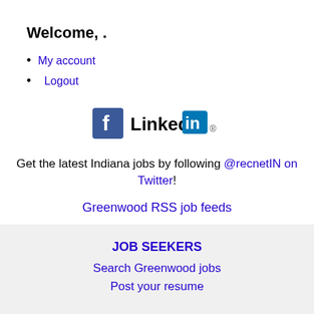Welcome, .
My account
Logout
[Figure (logo): Facebook logo icon and LinkedIn logo side by side]
Get the latest Indiana jobs by following @recnetIN on Twitter!
Greenwood RSS job feeds
JOB SEEKERS
Search Greenwood jobs
Post your resume